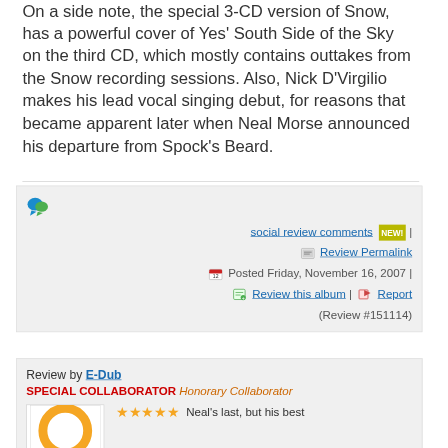On a side note, the special 3-CD version of Snow, has a powerful cover of Yes' South Side of the Sky on the third CD, which mostly contains outtakes from the Snow recording sessions. Also, Nick D'Virgilio makes his lead vocal singing debut, for reasons that became apparent later when Neal Morse announced his departure from Spock's Beard.
social review comments NEW! | Review Permalink | Posted Friday, November 16, 2007 | Review this album | Report (Review #151114)
Review by E-Dub SPECIAL COLLABORATOR Honorary Collaborator
Neal's last, but his best